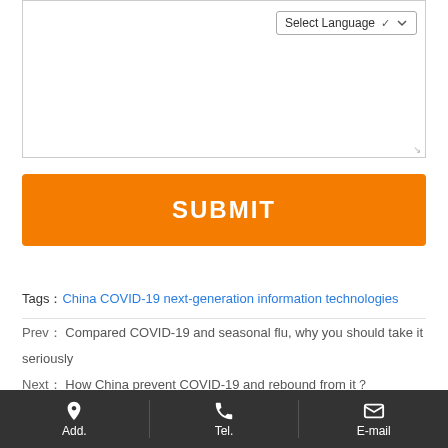[Figure (screenshot): Text area input box with 'Select Language' dropdown button in top-right corner and resize handle in bottom-right corner]
[Figure (other): Orange SUBMIT button]
Tags： China COVID-19 next-generation information technologies
Prev： Compared COVID-19 and seasonal flu, why you should take it seriously
Next： How China prevent COVID-19 and rebound from it？
Related
Add.   Tel.   E-mail